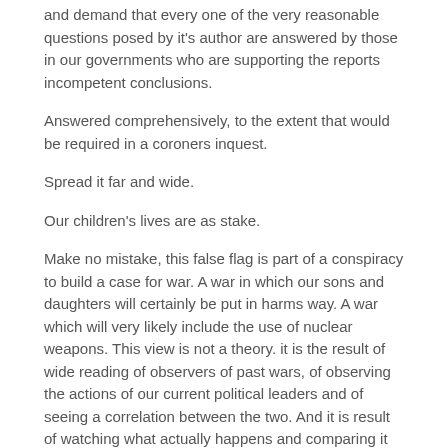and demand that every one of the very reasonable questions posed by it's author are answered by those in our governments who are supporting the reports incompetent conclusions.
Answered comprehensively, to the extent that would be required in a coroners inquest.
Spread it far and wide.
Our children's lives are as stake.
Make no mistake, this false flag is part of a conspiracy to build a case for war. A war in which our sons and daughters will certainly be put in harms way. A war which will very likely include the use of nuclear weapons. This view is not a theory. it is the result of wide reading of observers of past wars, of observing the actions of our current political leaders and of seeing a correlation between the two. And it is result of watching what actually happens and comparing it to how it is actually reported and how our politicians respond to the reality and the reported reality.
Reply